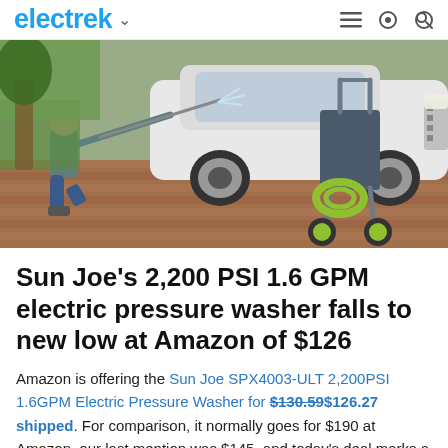electrek
[Figure (photo): A person kneeling on a brick driveway using a Sun Joe electric pressure washer to clean a white luxury car. The pressure washer unit with yellow-green accents is visible in the foreground on a wheeled cart.]
Sun Joe's 2,200 PSI 1.6 GPM electric pressure washer falls to new low at Amazon of $126
Amazon is offering the Sun Joe SPX4003-ULT 2,200PSI 1.6GPM Electric Pressure Washer for $130.59$126.27 shipped. For comparison, it normally goes for $190 at Amazon, our last mention was $145, and today's deal marks a new all-time low that we've tracked. Ready to deliver the